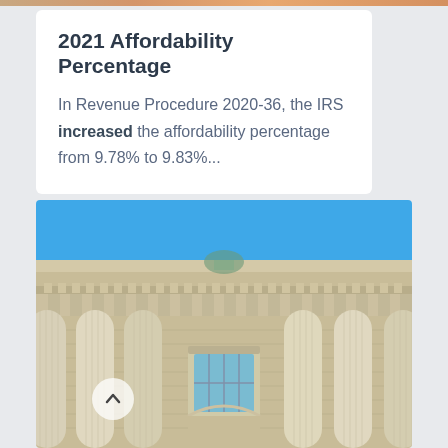2021 Affordability Percentage
In Revenue Procedure 2020-36, the IRS increased the affordability percentage from 9.78% to 9.83%...
[Figure (photo): Upward-angle photograph of a neoclassical government building facade showing large Ionic columns, ornate cornice with dentil molding, and a blue sky background. Likely the IRS building or similar federal building.]